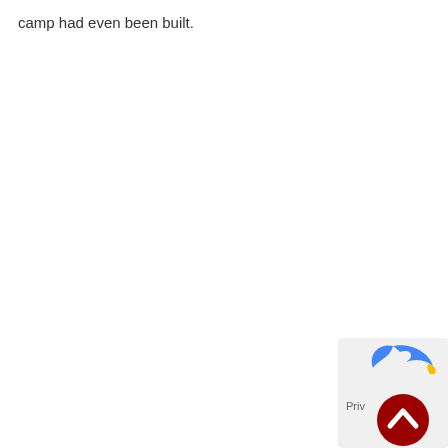camp had even been built.
[Figure (logo): Partial view of a web browser UI element in the bottom-right corner showing a red circular back-to-top button with a white chevron arrow, and a partial blue bird/logo icon above it, with 'Priv' text visible on a light grey background.]